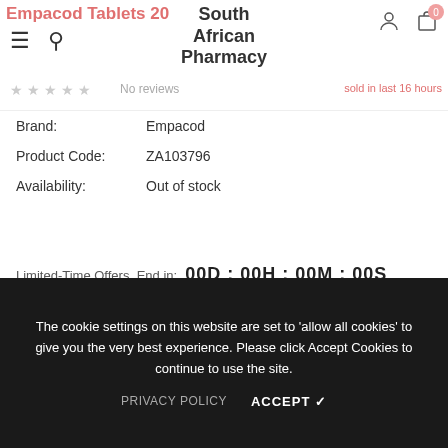Empacod Tablets 20 | South African Pharmacy
Brand: Empacod
Product Code: ZA103796
Availability: Out of stock
Limited-Time Offers, End in: 00D : 00H : 00M : 00S
$17.94
EMPACOD is indicated for the relief of mild to moderate pain and fever .COMPOSITION: Each tablet contains: Paracetamol 500 mg Codeine Phosphate 20 mg PHARMACOLOGICAL CLASSIFICATION:
The cookie settings on this website are set to 'allow all cookies' to give you the very best experience. Please click Accept Cookies to continue to use the site.